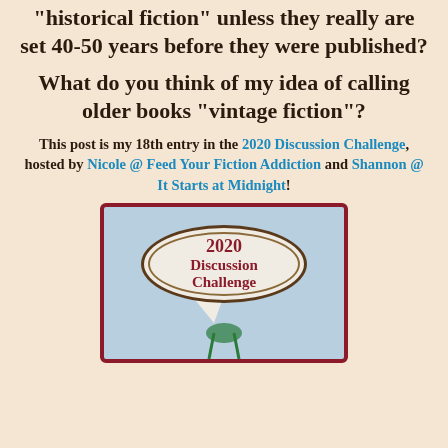“historical fiction” unless they really are set 40-50 years before they were published?
What do you think of my idea of calling older books “vintage fiction”?
This post is my 18th entry in the 2020 Discussion Challenge, hosted by Nicole @ Feed Your Fiction Addiction and Shannon @ It Starts at Midnight!
[Figure (logo): 2020 Discussion Challenge badge with oval speech bubble design on light blue background with dark red border]